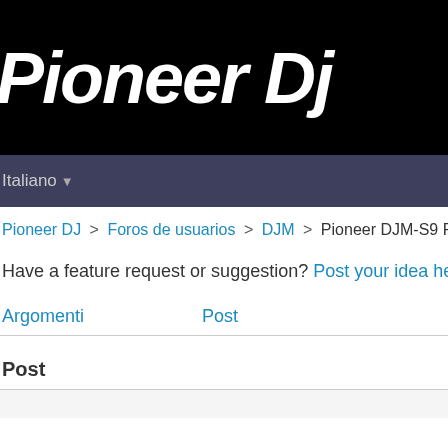[Figure (logo): Pioneer DJ logo in white italic font on black background]
Italiano ▼
Pioneer DJ > Foros de usuarios > DJM > Pioneer DJM-S9 Performa
Have a feature request or suggestion? Post your idea here
Argomenti    Post
Post